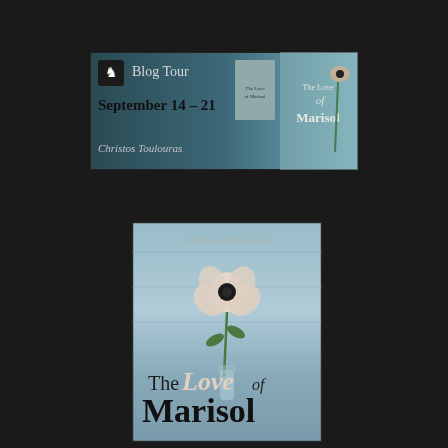[Figure (illustration): Blog Tour banner for 'The Love of Marisol' by Christos Toulouras, September 14–21, with book cover image and flower photo on teal background]
[Figure (illustration): Book cover for 'The Love of Marisol' by Christos Toulouras, featuring a white anemone flower in a glass vase against a blue wooden background]